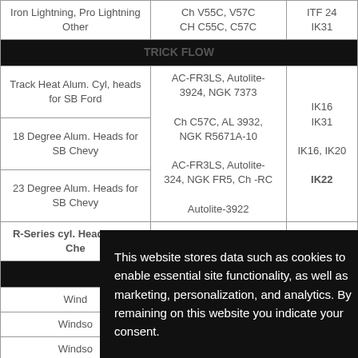| Application | OEM Equivalent | DENSO |
| --- | --- | --- |
| Iron Lightning, Pro Lightning Other | Ch V55C, V57C CH C55C, C57C | ITF24 IK31 |
| TRICK FLOW |  |  |
| Track Heat Alum. Cyl, heads for SB Ford | AC-FR3LS, Autolite-3924, NGK 7373 | IK16 IK31 |
| 18 Degree Alum. Heads for SB Chevy | Ch C57C, AL 3932, NGK R5671A-10 | IK16, IK20 |
| 23 Degree Alum. Heads for SB Chevy | AC-FR3LS, Autolite-324, NGK FR5, Ch -RC | IK22 |
| R-Series cyl. Head for BB Chevy | Autolite-3922 |  |
| WORLD |  |  |
| Windsor... |  |  |
| Windsor... |  |  |
| Windsor... |  |  |
| Roush 200... |  |  |
| Torquer 440... |  |  |
| Sportsman... |  |  |
| S/R |  | ITE16, ITE20 |
This website stores data such as cookies to enable essential site functionality, as well as marketing, personalization, and analytics. By remaining on this website you indicate your consent.
Data Storage Policy